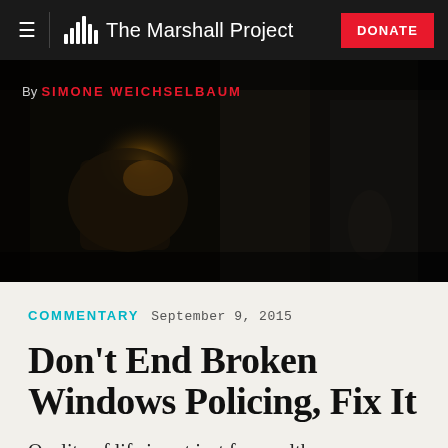The Marshall Project — DONATE
[Figure (photo): Dark hero photo showing a person in dark clothing, possibly an arrest or law enforcement scene, with a golden/amber glow in the background. Byline overlay: By SIMONE WEICHSELBAUM]
By SIMONE WEICHSELBAUM
COMMENTARY  September 9, 2015
Don't End Broken Windows Policing, Fix It
Quality of life is not just for wealthy suburbanites.